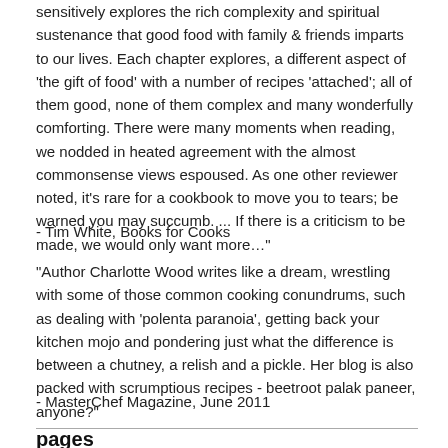sensitively explores the rich complexity and spiritual sustenance that good food with family & friends imparts to our lives. Each chapter explores, a different aspect of 'the gift of food' with a number of recipes 'attached'; all of them good, none of them complex and many wonderfully comforting. There were many moments when reading, we nodded in heated agreement with the almost commonsense views espoused. As one other reviewer noted, it's rare for a cookbook to move you to tears; be warned you may succumb. ... If there is a criticism to be made, we would only want more…"
- Tim White, Books for Cooks
"Author Charlotte Wood writes like a dream, wrestling with some of those common cooking conundrums, such as dealing with 'polenta paranoia', getting back your kitchen mojo and pondering just what the difference is between a chutney, a relish and a pickle. Her blog is also packed with scrumptious recipes - beetroot palak paneer, anyone?"
- MasterChef Magazine, June 2011
pages